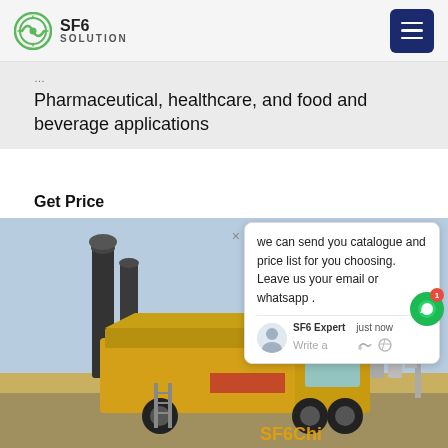SF6 SOLUTION
Pharmaceutical, healthcare, and food and beverage applications
Get Price
[Figure (photo): Yellow service truck with equipment at an electrical substation with power lines and towers in the background. SF6China watermark visible at bottom right.]
we can send you catalogue and price list for you choosing. Leave us your email or whatsapp .